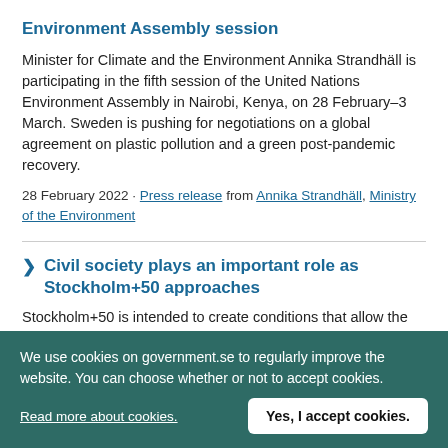Environment Assembly session
Minister for Climate and the Environment Annika Strandhäll is participating in the fifth session of the United Nations Environment Assembly in Nairobi, Kenya, on 28 February–3 March. Sweden is pushing for negotiations on a global agreement on plastic pollution and a green post-pandemic recovery.
28 February 2022 · Press release from Annika Strandhäll, Ministry of the Environment
Civil society plays an important role as Stockholm+50 approaches
Stockholm+50 is intended to create conditions that allow the implementation of the Sustainable
We use cookies on government.se to regularly improve the website. You can choose whether or not to accept cookies.
Read more about cookies.